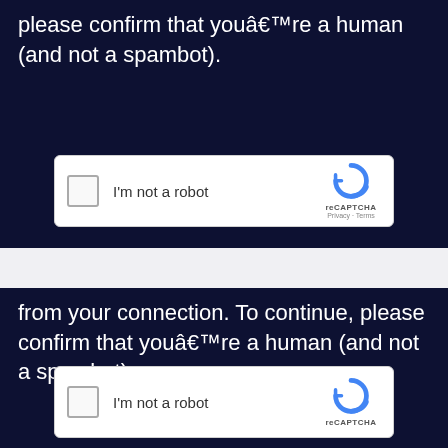please confirm that youâ€™re a human (and not a spambot).
[Figure (screenshot): reCAPTCHA widget with checkbox labeled 'I'm not a robot' and reCAPTCHA logo with Privacy and Terms links]
"Quick-Adding" Coaching Instructions to NT200
from your connection. To continue, please confirm that youâ€™re a human (and not a spambot).
[Figure (screenshot): reCAPTCHA widget with checkbox labeled 'I'm not a robot' and reCAPTCHA logo]